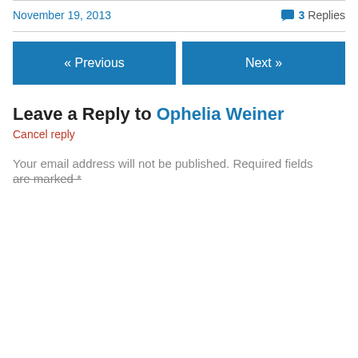November 19, 2013
3 Replies
« Previous
Next »
Leave a Reply to Ophelia Weiner
Cancel reply
Your email address will not be published. Required fields are marked *
Privacy & Cookies: This site uses cookies. By continuing to use this website, you agree to their use.
To find out more, including how to control cookies, see here: Cookie Policy
Close and accept